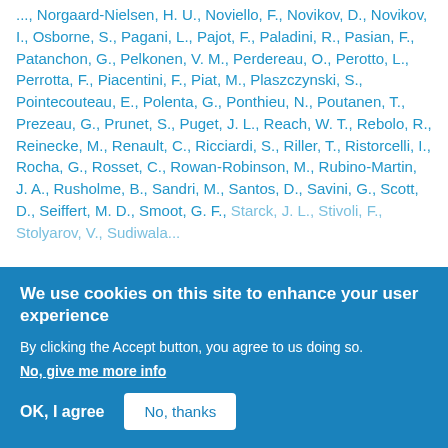..., Norgaard-Nielsen, H. U., Noviello, F., Novikov, D., Novikov, I., Osborne, S., Pagani, L., Pajot, F., Paladini, R., Pasian, F., Patanchon, G., Pelkonen, V. M., Perdereau, O., Perotto, L., Perrotta, F., Piacentini, F., Piat, M., Plaszczynski, S., Pointecouteau, E., Polenta, G., Ponthieu, N., Poutanen, T., Prezeau, G., Prunet, S., Puget, J. L., Reach, W. T., Rebolo, R., Reinecke, M., Renault, C., Ricciardi, S., Riller, T., Ristorcelli, I., Rocha, G., Rosset, C., Rowan-Robinson, M., Rubino-Martin, J. A., Rusholme, B., Sandri, M., Santos, D., Savini, G., Scott, D., Seiffert, M. D., Smoot, G. F., Starck, J. L., Stivoli, F., Stolyarov, V., Sudiwala...
We use cookies on this site to enhance your user experience
By clicking the Accept button, you agree to us doing so.
No, give me more info